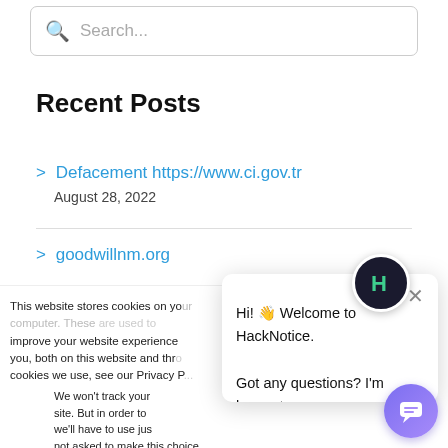Search...
Recent Posts
> Defacement https://www.ci.gov.tr
August 28, 2022
> goodwillnm.org
This website stores cookies on your computer. These are used to improve your website experience you, both on this website and through cookies we use, see our Privacy P...
We won't track your site. But in order to we'll have to use jus not asked to make this choice again.
Accept
Decline
Hi! 👋 Welcome to HackNotice. Got any questions? I'm happy to help.